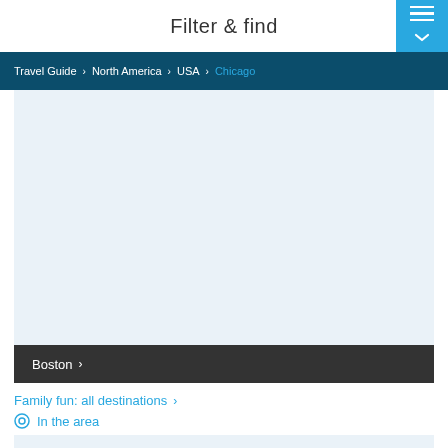Filter & find
Travel Guide > North America > USA > Chicago
[Figure (map): Light blue-grey map placeholder area]
Boston >
Family fun: all destinations >
In the area
[Figure (map): Light blue-grey map placeholder area at bottom]